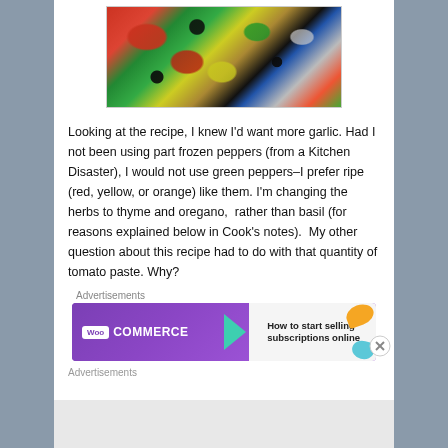[Figure (photo): Close-up photo of a colorful vegetable salad with red peppers, zucchini slices, black olives, onions, and other vegetables]
Looking at the recipe, I knew I'd want more garlic. Had I not been using part frozen peppers (from a Kitchen Disaster), I would not use green peppers–I prefer ripe (red, yellow, or orange) like them. I'm changing the herbs to thyme and oregano,  rather than basil (for reasons explained below in Cook's notes).  My other question about this recipe had to do with that quantity of tomato paste. Why?
Advertisements
[Figure (other): WooCommerce advertisement banner: How to start selling subscriptions online]
Advertisements